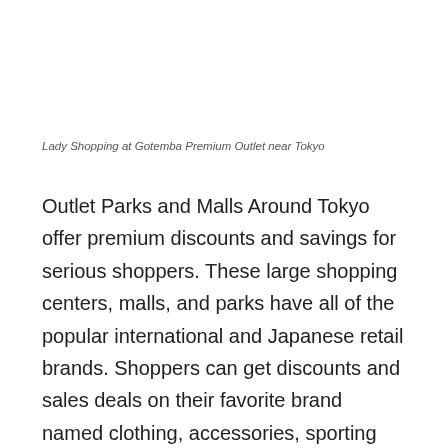Lady Shopping at Gotemba Premium Outlet near Tokyo
Outlet Parks and Malls Around Tokyo offer premium discounts and savings for serious shoppers. These large shopping centers, malls, and parks have all of the popular international and Japanese retail brands. Shoppers can get discounts and sales deals on their favorite brand named clothing, accessories, sporting goods, home furnishings and more. Most of the stores also offer a duty-free 10% tax refund for international travelers to Japan, so bring your passport. Please take a look at the websites of the outlet shopping malls and check if your favorite brands have a store at the outlet. Here is a list of Tokyo Area Outlet Parks